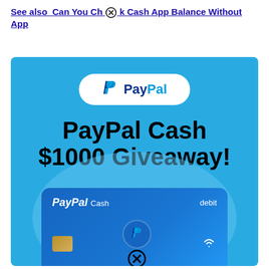See also  Can You Check Cash App Balance Without App
[Figure (illustration): PayPal Cash $1000 Giveaway promotional image on a blue background, featuring the PayPal logo in a white pill-shaped badge, large bold text reading 'PayPal Cash $1000 Giveaway!', a light blue circular background element, and a PayPal Cash debit card at the bottom.]